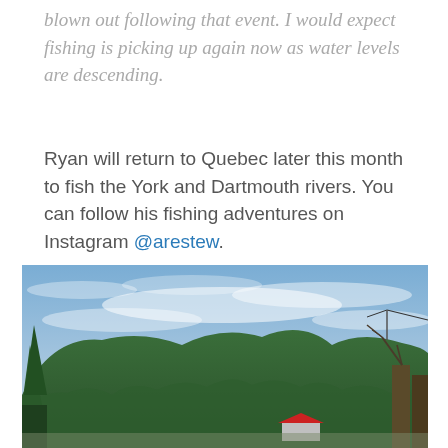blown out following that event. I would expect fishing is picking up again now as water levels are descending.
Ryan will return to Quebec later this month to fish the York and Dartmouth rivers. You can follow his fishing adventures on Instagram @arestew.
[Figure (photo): Outdoor landscape photo showing a forested hillside with green conifer trees under a blue sky with wispy clouds. Trees are in the foreground, with a small red-roofed structure visible at lower right. A utility pole/antenna is visible at upper right.]